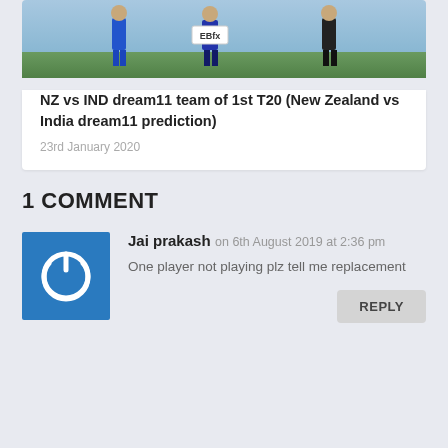[Figure (photo): Photo of cricket players on a field with an EBfx logo banner visible]
NZ vs IND dream11 team of 1st T20 (New Zealand vs India dream11 prediction)
23rd January 2020
1 COMMENT
[Figure (logo): Blue square avatar icon with a white power button symbol]
Jai prakash on 6th August 2019 at 2:36 pm
One player not playing plz tell me replacement